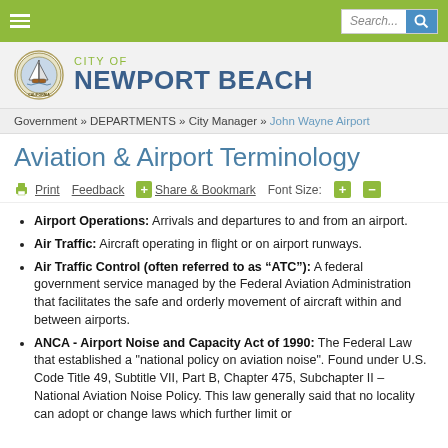City of Newport Beach — Navigation header with search bar
[Figure (logo): City of Newport Beach seal/logo with sailboat emblem and text CITY OF NEWPORT BEACH]
Government » DEPARTMENTS » City Manager » John Wayne Airport
Aviation & Airport Terminology
Print  Feedback  Share & Bookmark  Font Size: + -
Airport Operations: Arrivals and departures to and from an airport.
Air Traffic: Aircraft operating in flight or on airport runways.
Air Traffic Control (often referred to as "ATC"): A federal government service managed by the Federal Aviation Administration that facilitates the safe and orderly movement of aircraft within and between airports.
ANCA - Airport Noise and Capacity Act of 1990: The Federal Law that established a "national policy on aviation noise". Found under U.S. Code Title 49, Subtitle VII, Part B, Chapter 475, Subchapter II – National Aviation Noise Policy. This law generally said that no locality can adopt or change laws which further limit or